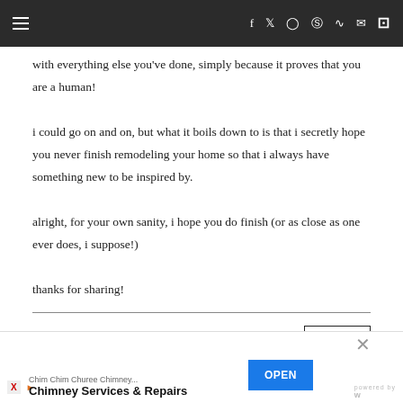≡  f  𝕥  🔲  𝕡  ☞  ✉  🔍
with everything else you've done, simply because it proves that you are a human!
i could go on and on, but what it boils down to is that i secretly hope you never finish remodeling your home so that i always have something new to be inspired by.
alright, for your own sanity, i hope you do finish (or as close as one ever does, i suppose!)
thanks for sharing!
jessica
LAURENJANELLE
REPLY
FEBRUARY 7, 2011 AT 11:49 AM
[Figure (infographic): Advertisement banner: Chim Chim Churee Chimney... Chimney Services & Repairs with OPEN button]